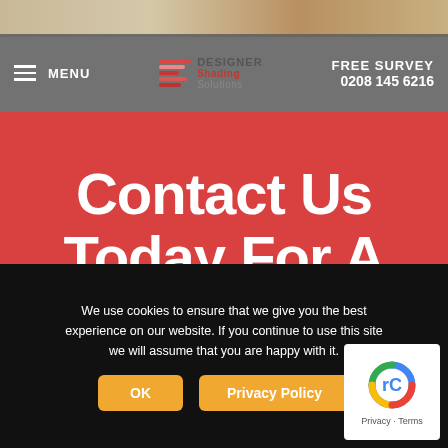[Figure (screenshot): Website header with navigation menu, Designer Shading Solutions logo, FREE SURVEY text and phone number 0208 145 6216]
Contact Us Today For A Free Quote
We use cookies to ensure that we give you the best experience on our website. If you continue to use this site we will assume that you are happy with it.
OK
Privacy Policy